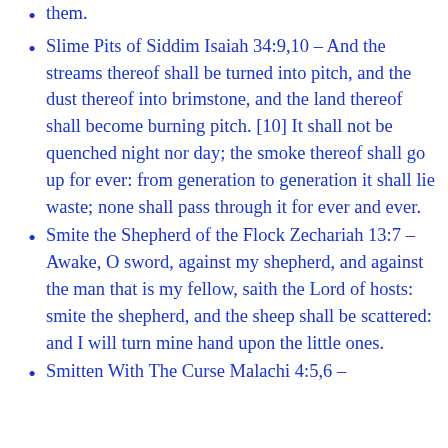them.
Slime Pits of Siddim Isaiah 34:9,10 – And the streams thereof shall be turned into pitch, and the dust thereof into brimstone, and the land thereof shall become burning pitch. [10] It shall not be quenched night nor day; the smoke thereof shall go up for ever: from generation to generation it shall lie waste; none shall pass through it for ever and ever.
Smite the Shepherd of the Flock Zechariah 13:7 – Awake, O sword, against my shepherd, and against the man that is my fellow, saith the Lord of hosts: smite the shepherd, and the sheep shall be scattered: and I will turn mine hand upon the little ones.
Smitten With The Curse Malachi 4:5,6 –